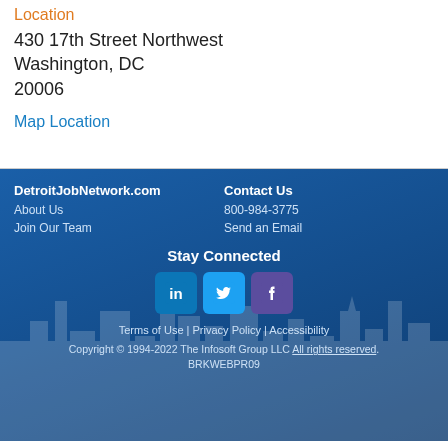Location
430 17th Street Northwest
Washington, DC
20006
Map Location
DetroitJobNetwork.com | About Us | Join Our Team | Contact Us | 800-984-3775 | Send an Email | Stay Connected | Terms of Use | Privacy Policy | Accessibility | Copyright © 1994-2022 The Infosoft Group LLC All rights reserved. | BRKWEBPR09